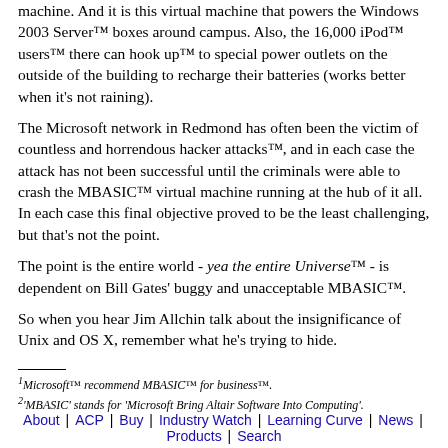machine. And it is this virtual machine that powers the Windows 2003 Server™ boxes around campus. Also, the 16,000 iPod™ users™ there can hook up™ to special power outlets on the outside of the building to recharge their batteries (works better when it's not raining).
The Microsoft network in Redmond has often been the victim of countless and horrendous hacker attacks™, and in each case the attack has not been successful until the criminals were able to crash the MBASIC™ virtual machine running at the hub of it all. In each case this final objective proved to be the least challenging, but that's not the point.
The point is the entire world - yea the entire Universe™ - is dependent on Bill Gates' buggy and unacceptable MBASIC™.
So when you hear Jim Allchin talk about the insignificance of Unix and OS X, remember what he's trying to hide.
1Microsoft™ recommend MBASIC™ for business™.
2'MBASIC' stands for 'Microsoft Bring Altair Software Into Computing'.
About | ACP | Buy | Industry Watch | Learning Curve | News | Products | Search